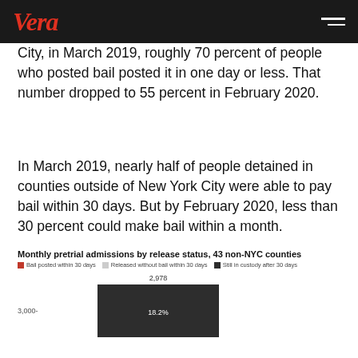Vera
City, in March 2019, roughly 70 percent of people who posted bail posted it in one day or less. That number dropped to 55 percent in February 2020.
In March 2019, nearly half of people detained in counties outside of New York City were able to pay bail within 30 days. But by February 2020, less than 30 percent could make bail within a month.
[Figure (bar-chart): Monthly pretrial admissions by release status, 43 non-NYC counties]